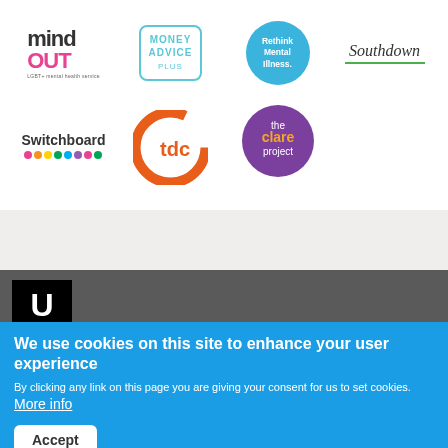[Figure (logo): MindOut logo - text logo with 'mind' in dark and 'OUT' in pink]
[Figure (logo): Money Advice Plus logo - teal outlined rounded rectangle with text]
[Figure (logo): Rethink Mental Illness logo - blue circle with white text]
[Figure (logo): Southdown logo - italic serif text with green underline]
[Figure (logo): Switchboard logo - bold text with colorful dots]
[Figure (logo): tdc logo - orange circular C shape around tdc letters]
[Figure (logo): The Clare Project logo - purple speech bubble circle with text]
[Figure (logo): U logo - white U letter on black background square]
We use cookies on this site to enhance your user experience
By clicking any link on this page you are giving your consent for us to set cookies. More info
Accept